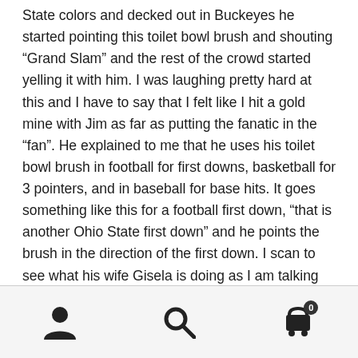State colors and decked out in Buckeyes he started pointing this toilet bowl brush and shouting “Grand Slam”  and the rest of the crowd started yelling it with him.  I was laughing pretty hard at this and I have to say that I felt like I hit a gold mine with Jim as far as putting the fanatic in the “fan”.  He explained to me that he uses his toilet bowl brush in football for first downs, basketball for 3 pointers, and in baseball for base hits.  It goes something like this for a football first down, “that is another Ohio State first down” and he points the brush in the direction of the first down.  I scan to see what his wife Gisela is doing as I am talking with Jim and when he riles up the crowd, she seems like the perfect wife and to me she enjoys her husbands antics.
[user icon] [search icon] [cart icon with badge 0]